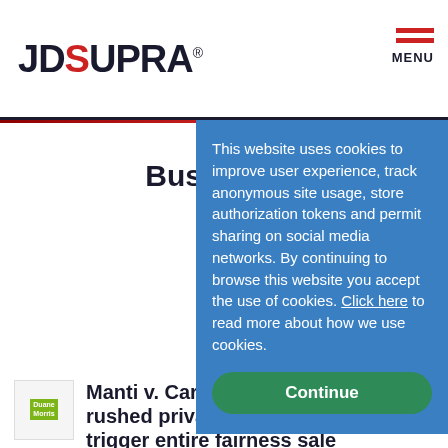JD SUPRA® — MENU
NEWS & ANALYSIS AS C...
Business Torts › law... & Bank...
+ Follow
Read Business Torts updates, commentary from leading...
This website uses cookies to improve user experience, track anonymous site usage, store authorization tokens and permit sharing on social media networks. By continuing to browse this website you accept the use of cookies. Click here to read more about how we use cookies.
Continue
Manti v. Carlyle: rushed private e... trigger entire fairness sale